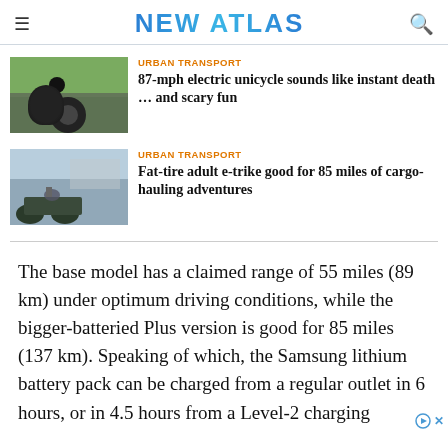NEW ATLAS
[Figure (photo): Person riding an electric unicycle at speed on a road, motion blur in background with greenery]
URBAN TRANSPORT
87-mph electric unicycle sounds like instant death … and scary fun
[Figure (photo): Woman riding a fat-tire adult e-trike near a waterfront with ships in the background]
URBAN TRANSPORT
Fat-tire adult e-trike good for 85 miles of cargo-hauling adventures
The base model has a claimed range of 55 miles (89 km) under optimum driving conditions, while the bigger-batteried Plus version is good for 85 miles (137 km). Speaking of which, the Samsung lithium battery pack can be charged from a regular outlet in 6 hours, or in 4.5 hours from a Level-2 charging